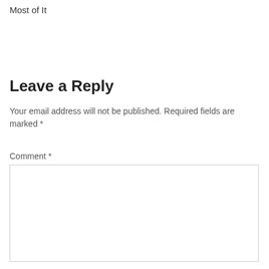Most of It
Leave a Reply
Your email address will not be published. Required fields are marked *
Comment *